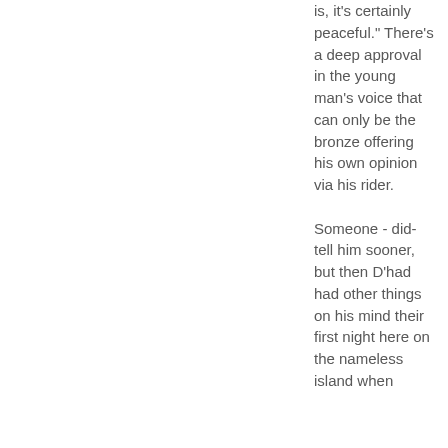is, it's certainly peaceful." There's a deep approval in the young man's voice that can only be the bronze offering his own opinion via his rider.

Someone - did- tell him sooner, but then D'had had other things on his mind their first night here on the nameless island when